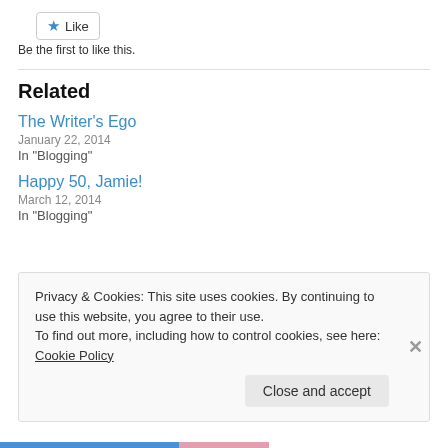[Figure (other): Like button with star icon]
Be the first to like this.
Related
The Writer's Ego
January 22, 2014
In "Blogging"
Happy 50, Jamie!
March 12, 2014
In "Blogging"
Privacy & Cookies: This site uses cookies. By continuing to use this website, you agree to their use. To find out more, including how to control cookies, see here: Cookie Policy